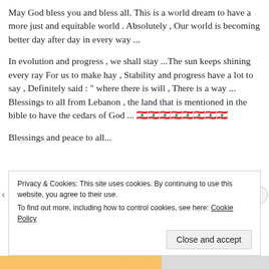May God bless you and bless all. This is a world dream to have a more just and equitable world . Absolutely , Our world is becoming better day after day in every way ...
In evolution and progress , we shall stay ...The sun keeps shining every ray For us to make hay , Stability and progress have a lot to say , Definitely said : " where there is will , There is a way ...
Blessings to all from Lebanon , the land that is mentioned in the bible to have the cedars of God ... 🇱🇧🇱🇧🇱🇧🇱🇧🇱🇧🇱🇧🇱🇧🇱🇧
Blessings and peace to all...
Privacy & Cookies: This site uses cookies. By continuing to use this website, you agree to their use.
To find out more, including how to control cookies, see here: Cookie Policy
Close and accept